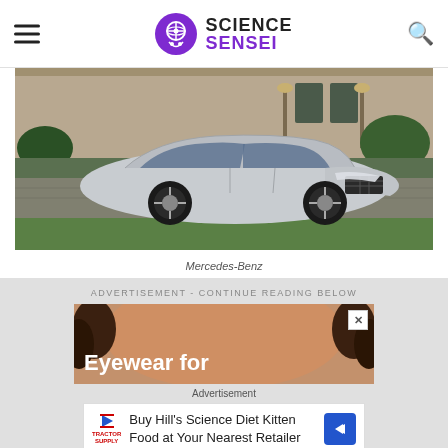Science Sensei
[Figure (photo): A silver Mercedes-Benz luxury sedan parked in front of a stone building with landscaped hedges and lamp posts.]
Mercedes-Benz
ADVERTISEMENT - CONTINUE READING BELOW
[Figure (photo): Advertisement showing close-up of a person's face with text 'Eyewear for']
Advertisement
[Figure (infographic): Buy Hill's Science Diet Kitten Food at Your Nearest Retailer advertisement]